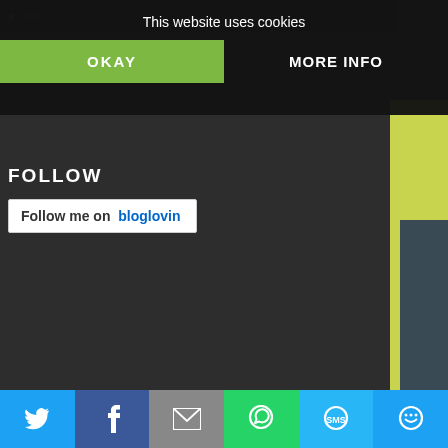This website uses cookies
OKAY
MORE INFO
FOLLOW
Follow me on bloglovin
[Figure (photo): Book cover for 'Our Trespasses' by Michael Cordell — shows a dark moody barn in foggy field at night with birds on the roof, yellow-green background with title text in distressed font]
Matthew has a strong connection with his twin agony. This tells him that Jake was violently m them has now intensified. Determined to break Nebraska to investigate the murder and atone the psychic bond, it might become the route to
[Figure (infographic): Social share bar at bottom with icons for Twitter, Facebook, Email, WhatsApp, SMS, and another sharing option]